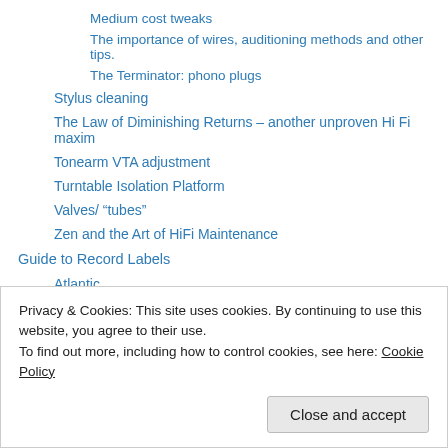Medium cost tweaks
The importance of wires, auditioning methods and other tips.
The Terminator: phono plugs
Stylus cleaning
The Law of Diminishing Returns – another unproven Hi Fi maxim
Tonearm VTA adjustment
Turntable Isolation Platform
Valves/ “tubes”
Zen and the Art of HiFi Maintenance
Guide to Record Labels
Atlantic
1200 series listing
1300 series listing
Privacy & Cookies: This site uses cookies. By continuing to use this website, you agree to their use.
To find out more, including how to control cookies, see here: Cookie Policy
Close and accept
Atlantic in Japan